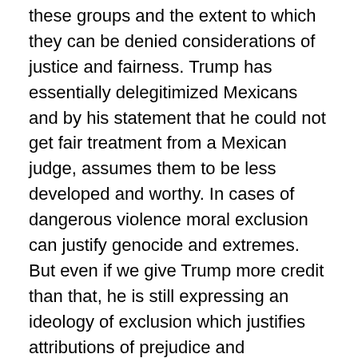these groups and the extent to which they can be denied considerations of justice and fairness. Trump has essentially delegitimized Mexicans and by his statement that he could not get fair treatment from a Mexican judge, assumes them to be less developed and worthy. In cases of dangerous violence moral exclusion can justify genocide and extremes. But even if we give Trump more credit than that, he is still expressing an ideology of exclusion which justifies attributions of prejudice and discrimination to the “other” group.
Trumps racism is in line with the tendencies to treat an outgroup (Mexicans) as worthy of special consideration; that is, this group violates some standards assumed to be characteristic of his own ingroup and they are therefore problematic and outside the boundaries of democratic